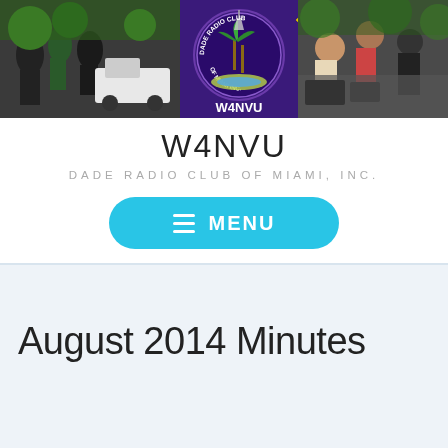[Figure (photo): Banner photo collage for Dade Radio Club of Miami W4NVU showing amateur radio operators at various events, club logo with palm trees, and callsign W4NVU overlaid]
W4NVU
DADE RADIO CLUB OF MIAMI, INC.
[Figure (other): Cyan/turquoise rounded rectangle menu button with hamburger icon and text MENU]
August 2014 Minutes